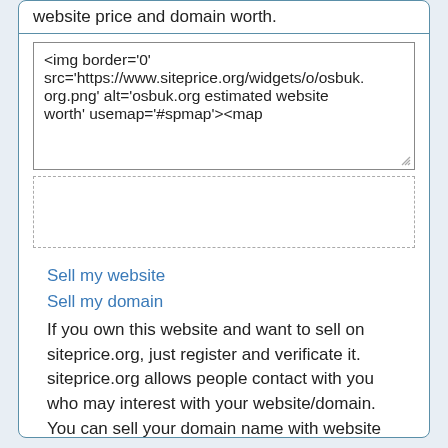website price and domain worth.
<img border='0' src='https://www.siteprice.org/widgets/o/osbuk.org.png' alt='osbuk.org estimated website worth' usemap='#spmap'><map
Sell my website
Sell my domain
If you own this website and want to sell on siteprice.org, just register and verificate it. siteprice.org allows people contact with you who may interest with your website/domain. You can sell your domain name with website hosting.